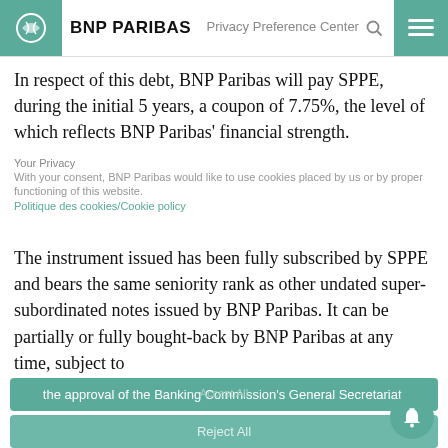BNP PARIBAS | Privacy Preference Center
In respect of this debt, BNP Paribas will pay SPPE, during the initial 5 years, a coupon of 7.75%, the level of which reflects BNP Paribas' financial strength.
Your Privacy
With your consent, BNP Paribas would like to use cookies placed by us or by proper functioning of this website.
Politique des cookies/Cookie policy
The instrument issued has been fully subscribed by SPPE and bears the same seniority rank as other undated super-subordinated notes issued by BNP Paribas. It can be partially or fully bought-back by BNP Paribas at any time, subject to the approval of the Banking Commission's General Secretariat.
Reject All
In order to set up an incentive for banks to get out of the state financing mechanism as quickly as possible, and in accordance with the European Commission's wishes, the back price will gradually increase, starting on the first